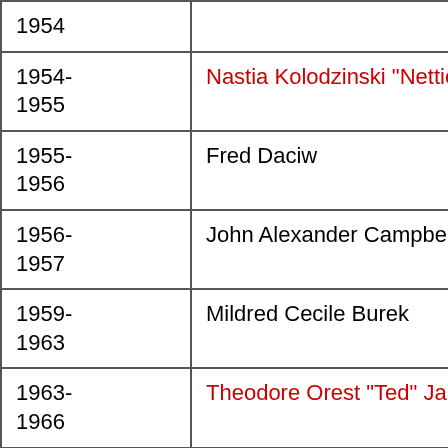| Year | Name |
| --- | --- |
| 1954 |  |
| 1954-1955 | Nastia Kolodzinski "Nettie" Stadn… |
| 1955-1956 | Fred Daciw |
| 1956-1957 | John Alexander Campbell |
| 1959-1963 | Mildred Cecile Burek |
| 1963-1966 | Theodore Orest "Ted" Jaremy (19… |
| 1966-1970 | Norman Joseph "Joe" Golebioski… |
| 1970-1971 | Wilbert Thompson Heather |
| 1971-1975 | Norman Joseph "Joe" Golebioski… |
| 1975- | Clare Atkins… |